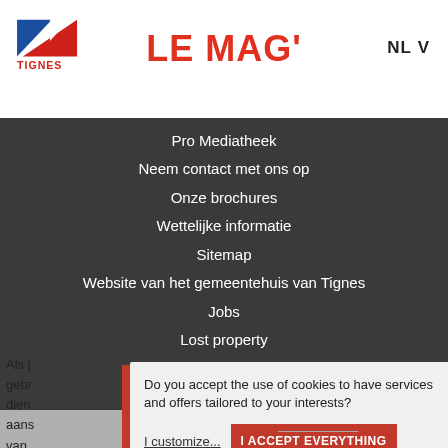[Figure (logo): Tignes logo: blue and red geometric mountain shape with TIGNES text below]
LE MAG'
NL V
Pro Mediatheek
Neem contact met ons op
Onze brochures
Wettelijke informatie
Sitemap
Website van het gemeentehuis van Tignes
Jobs
Lost property
FAQ
Become a volunteer
Als j gebr dien aans van
Do you accept the use of cookies to have services and offers tailored to your interests?
I customize...
I ACCEPT EVERYTHING